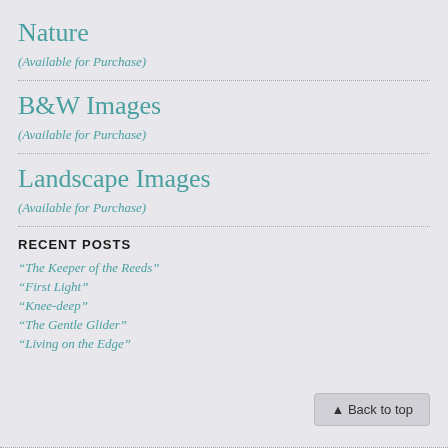Nature
(Available for Purchase)
B&W Images
(Available for Purchase)
Landscape Images
(Available for Purchase)
RECENT POSTS
“The Keeper of the Reeds”
“First Light”
“Knee-deep”
“The Gentle Glider”
“Living on the Edge”